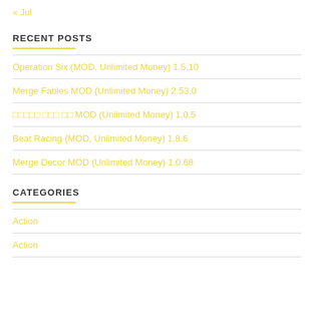« Jul
RECENT POSTS
Operation Six (MOD, Unlimited Money) 1.5.10
Merge Fables MOD (Unlimited Money) 2.53.0
□□□□□ □□□ □□ MOD (Unlimited Money) 1.0.5
Beat Racing (MOD, Unlimited Money) 1.8.6
Merge Decor MOD (Unlimited Money) 1.0.68
CATEGORIES
Action
Action